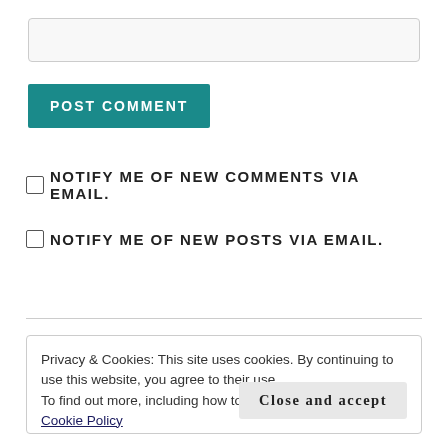[Figure (other): Text input field (empty, light gray background)]
POST COMMENT
NOTIFY ME OF NEW COMMENTS VIA EMAIL.
NOTIFY ME OF NEW POSTS VIA EMAIL.
Privacy & Cookies: This site uses cookies. By continuing to use this website, you agree to their use.
To find out more, including how to control cookies, see here: Cookie Policy
Close and accept